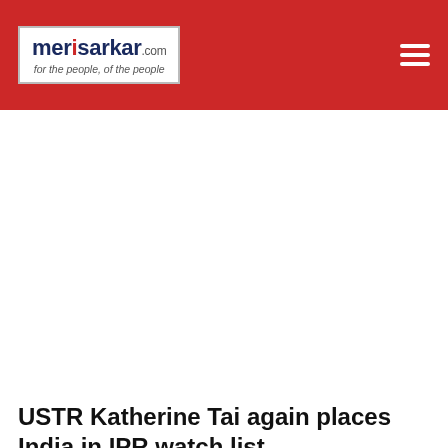merisarkar.com — for the people, of the people
USTR Katherine Tai again places India in IPR watch list